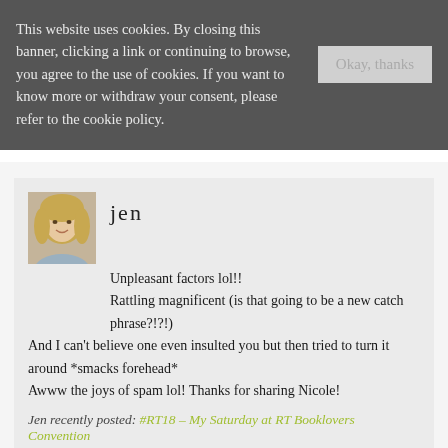This website uses cookies. By closing this banner, clicking a link or continuing to browse, you agree to the use of cookies. If you want to know more or withdraw your consent, please refer to the cookie policy.
Okay, thanks
jen
Unpleasant factors lol!!
Rattling magnificent (is that going to be a new catch phrase?!?!)
And I can't believe one even insulted you but then tried to turn it around *smacks forehead*
Awww the joys of spam lol! Thanks for sharing Nicole!
Jen recently posted: #RT18 – My Saturday at RT Booklovers Convention